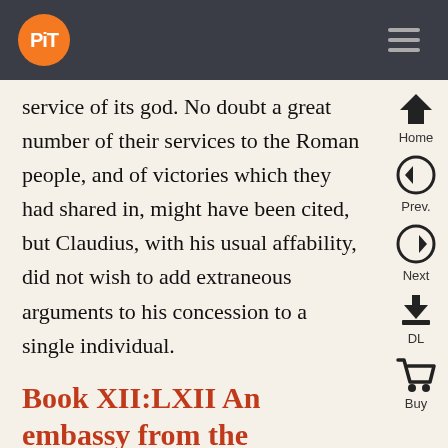PiT (logo) navigation bar
service of its god. No doubt a great number of their services to the Roman people, and of victories which they had shared in, might have been cited, but Claudius, with his usual affability, did not wish to add extraneous arguments to his concession to a single individual.
Book XII:LXII An embassy from the Byzantines
In contrast, the Byzantines, when granted an opportunity to speak, in protesting to the